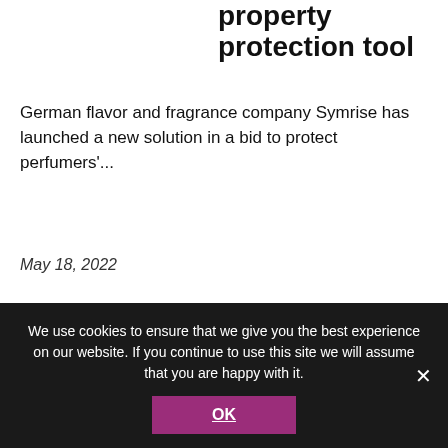property protection tool
German flavor and fragrance company Symrise has launched a new solution in a bid to protect perfumers'...
May 18, 2022
[Figure (logo): IFF blue logo with three quotation-mark style letter F shapes in blue]
IFF sales up 31% in Q1
US-based flavor and fragrance
We use cookies to ensure that we give you the best experience on our website. If you continue to use this site we will assume that you are happy with it.
OK